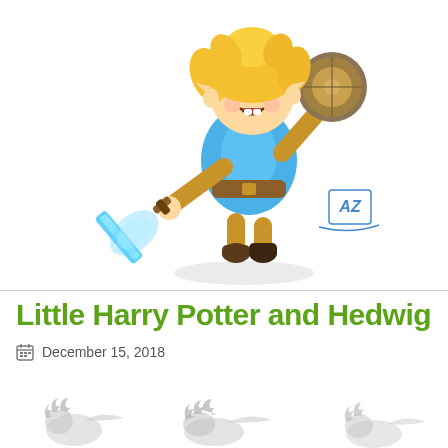[Figure (illustration): Cartoon illustration of a chibi-style Link character from Legend of Zelda wearing a blue tunic, holding a glowing blue sword and a round shield, with blonde hair and brown boots, jumping pose. Artist watermark 'AZ' in bottom right of illustration area.]
Little Harry Potter and Hedwig
December 15, 2018
[Figure (illustration): Partial illustration of small hedgehog or owl-like creatures at the bottom of the page, lightly colored in grey tones.]